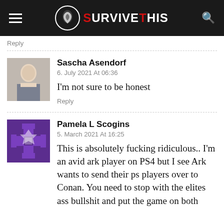SURVIVE THIS
Reply
Sascha Asendorf
6. July 2021 At 06:36
I'm not sure to be honest
Reply
Pamela L Scogins
5. March 2021 At 16:25
This is absolutely fucking ridiculous.. I'm an avid ark player on PS4 but I see Ark wants to send their ps players over to Conan. You need to stop with the elites ass bullshit and put the game on both